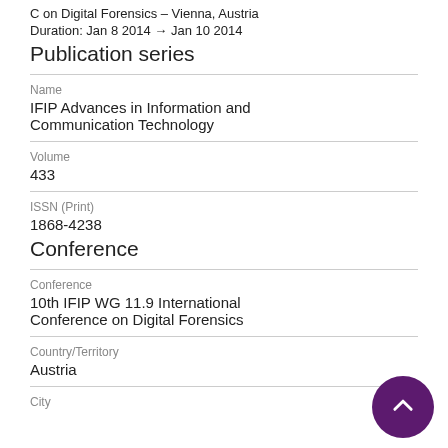C on Digital Forensics – Vienna, Austria
Duration: Jan 8 2014 → Jan 10 2014
Publication series
Name
IFIP Advances in Information and Communication Technology
Volume
433
ISSN (Print)
1868-4238
Conference
Conference
10th IFIP WG 11.9 International Conference on Digital Forensics
Country/Territory
Austria
City